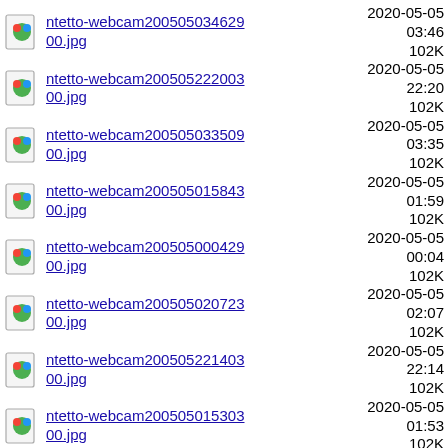ntetto-webcam20050503462900.jpg  2020-05-05 03:46  102K
ntetto-webcam20050522200300.jpg  2020-05-05 22:20  102K
ntetto-webcam20050503350900.jpg  2020-05-05 03:35  102K
ntetto-webcam20050501584300.jpg  2020-05-05 01:59  102K
ntetto-webcam20050500042900.jpg  2020-05-05 00:04  102K
ntetto-webcam20050502072300.jpg  2020-05-05 02:07  102K
ntetto-webcam20050522140300.jpg  2020-05-05 22:14  102K
ntetto-webcam20050501530300.jpg  2020-05-05 01:53  102K
ntetto-webcam20050502064300.jpg  2020-05-05 02:07  102K
ntetto-webcam20050502104300.jpg  2020-05-05 02:11  102K
ntetto-webcam20050522064300.jpg  2020-05-05 22:07  102K
ntetto-  2020-05-05  102K